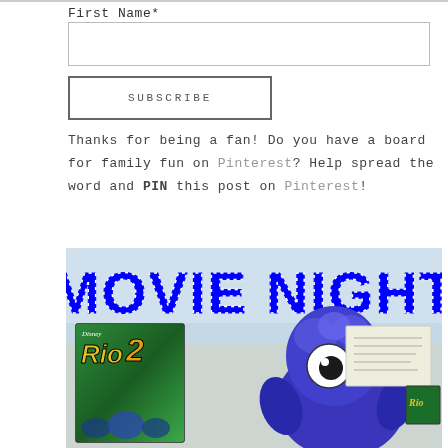First Name*
SUBSCRIBE
Thanks for being a fan! Do you have a board for family fun on Pinterest? Help spread the word and PIN this post on Pinterest!
[Figure (photo): Photo with 'MOVIE NIGHT' text overlay in blue dotted letters on a light blue background, showing a Rio 2 DVD case and a blue bird plush toy]